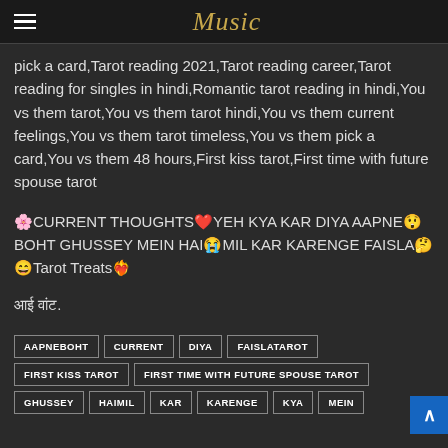Music
pick a card,Tarot reading 2021,Tarot reading career,Tarot reading for singles in hindi,Romantic tarot reading in hindi,You vs them tarot,You vs them tarot hindi,You vs them current feelings,You vs them tarot timeless,You vs them pick a card,You vs them 48 hours,First kiss tarot,First time with future spouse tarot
🌸CURRENT THOUGHTS❤️YEH KYA KAR DIYA AAPNE😲BOHT GHUSSEY MEIN HAI😭MIL KAR KARENGE FAISLA🤔😄Tarot Treats❤️‍🔥
आई वांट.
AAPNEBOHT
CURRENT
DIYA
FAISLATAROT
FIRST KISS TAROT
FIRST TIME WITH FUTURE SPOUSE TAROT
GHUSSEY
HAIMIL
KAR
KARENGE
KYA
MEIN